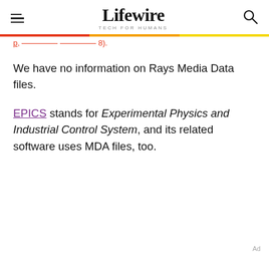Lifewire TECH FOR HUMANS
We have no information on Rays Media Data files.
EPICS stands for Experimental Physics and Industrial Control System, and its related software uses MDA files, too.
Ad